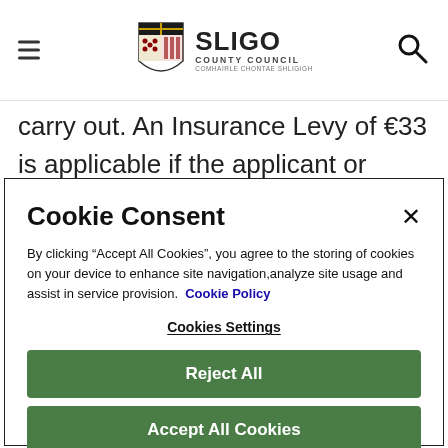Sligo County Council
carry out. An Insurance Levy of €33 is applicable if the applicant or contractor does not have their own PL insurance. It is not recommended that this levy
Cookie Consent
By clicking "Accept All Cookies", you agree to the storing of cookies on your device to enhance site navigation,analyze site usage and assist in service provision. Cookie Policy
Cookies Settings
Reject All
Accept All Cookies